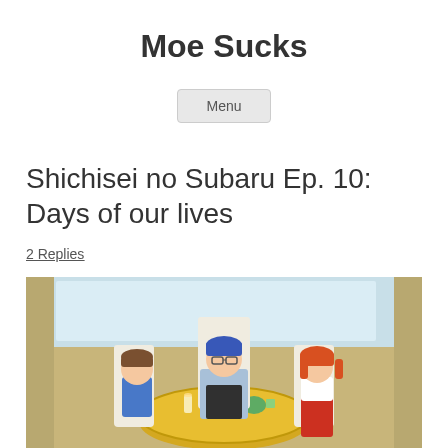Moe Sucks
Menu
Shichisei no Subaru Ep. 10: Days of our lives
2 Replies
[Figure (illustration): Anime screenshot showing three characters — a boy in a blue shirt on the left, a tall person with blue hair and glasses in the center, and a girl with orange hair in a red skirt on the right — sitting around a round yellow table with cups and a drink, inside a room with large windows and curtains.]